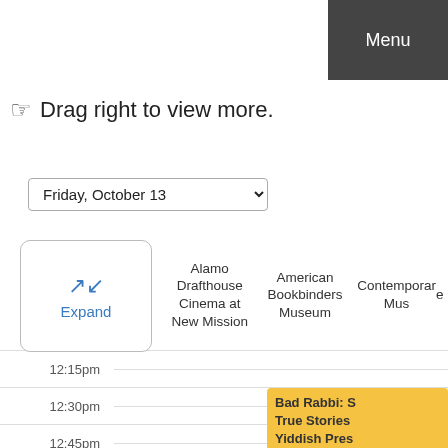Menu
Drag right to view more.
Friday, October 13
|  | Alamo Drafthouse Cinema at New Mission | American Bookbinders Museum | Contemporary Muse... |
| --- | --- | --- | --- |
| 12:15pm |  |  |  |
| 12:30pm |  |  | Bad Rabbi: S... True Stories Yiddish Pres... 12:30pm - 1:... |
| 12:45pm |  |  |  |
| 1:00pm |  |  |  |
| 1:15pm |  |  |  |
| 1:30pm |  |  |  |
| 1:45pm |  |  |  |
| 2:00pm |  |  |  |
| 2:15pm |  |  |  |